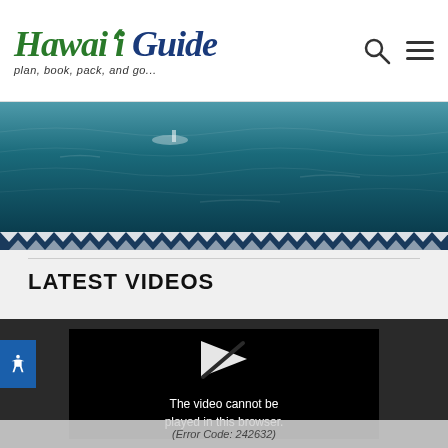Hawaiʻi Guide — plan, book, pack, and go...
[Figure (photo): Aerial view of deep teal/blue ocean water with small white boat visible]
[Figure (illustration): Decorative Hawaiian tribal triangle border pattern in dark navy blue]
LATEST VIDEOS
[Figure (screenshot): Video player showing error: 'The video cannot be played in this browser. (Error Code: 242632)']